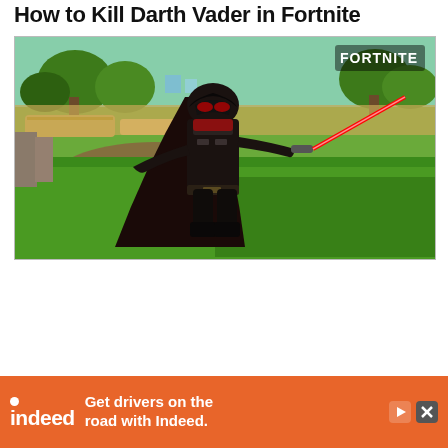How to Kill Darth Vader in Fortnite
[Figure (screenshot): Screenshot from Fortnite video game showing the Darth Vader character skin in combat pose, holding a red lightsaber, wearing black armor and cape, standing in a grassy outdoor environment with trees and hay bales in background. FORTNITE logo visible in top right corner.]
[Figure (other): Indeed advertisement banner with orange background. Shows 'indeed' logo with white circle dot above the text, and the ad copy 'Get drivers on the road with Indeed.' alongside play and close buttons.]